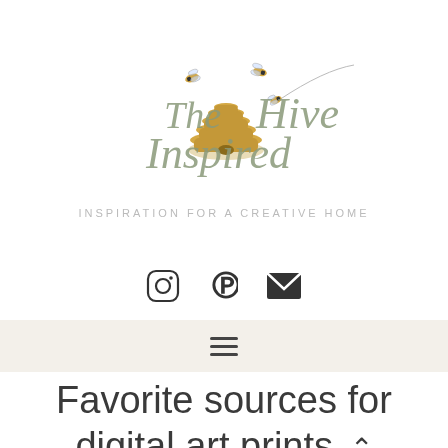[Figure (logo): The Inspired Hive logo with illustrated beehive and bees, cursive script text reading 'The Inspired Hive']
INSPIRATION FOR A CREATIVE HOME
[Figure (infographic): Social media icons: Instagram circle icon, Pinterest P icon, envelope/email icon]
[Figure (infographic): Hamburger navigation menu icon (three horizontal lines) on a beige/tan background bar]
Favorite sources for digital art prints